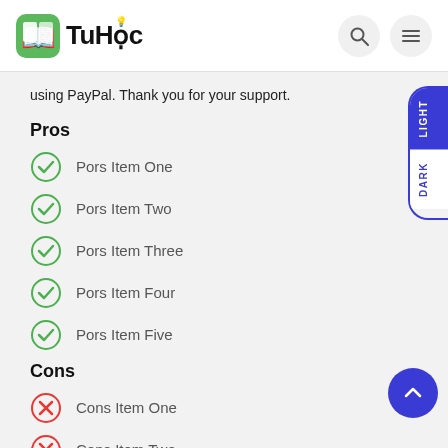TuHọc
using PayPal. Thank you for your support.
Pros
Pors Item One
Pors Item Two
Pors Item Three
Pors Item Four
Pors Item Five
Cons
Cons Item One
Cons Item Two